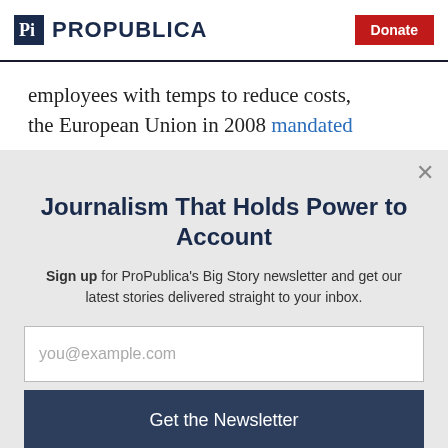ProPublica | Donate
employees with temps to reduce costs, the European Union in 2008 mandated
Journalism That Holds Power to Account
Sign up for ProPublica's Big Story newsletter and get our latest stories delivered straight to your inbox.
you@example.com
Get the Newsletter
No thanks, I'm all set
This site is protected by reCAPTCHA and the Google Privacy Policy and Terms of Service apply.